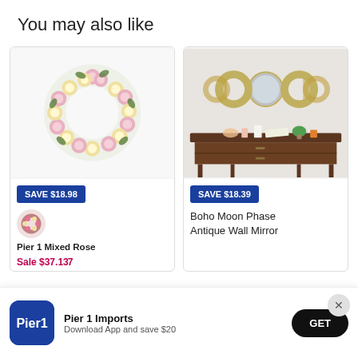You may also like
[Figure (photo): Pink and white rose wreath product photo on white background]
SAVE $18.98
Pier 1 Mixed Rose
[Figure (photo): Boho Moon Phase Antique Wall Mirror displayed above a dark wood console table with candles, lamp, and decor]
SAVE $18.39
Boho Moon Phase Antique Wall Mirror
Sale $37.1...
[Figure (logo): Pier 1 Imports app icon with blue background and white text]
Pier 1 Imports
Download App and save $20
GET